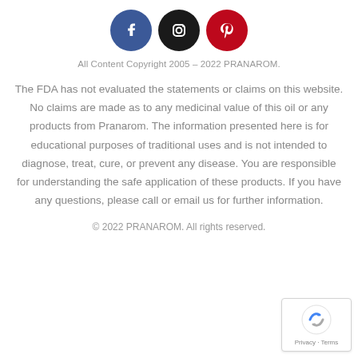[Figure (other): Three social media icon circles: Facebook (blue), Instagram (black), Pinterest (red)]
All Content Copyright 2005 – 2022 PRANAROM.
The FDA has not evaluated the statements or claims on this website. No claims are made as to any medicinal value of this oil or any products from Pranarom. The information presented here is for educational purposes of traditional uses and is not intended to diagnose, treat, cure, or prevent any disease. You are responsible for understanding the safe application of these products. If you have any questions, please call or email us for further information.
© 2022 PRANAROM. All rights reserved.
[Figure (other): reCAPTCHA badge with Google logo and Privacy - Terms text]